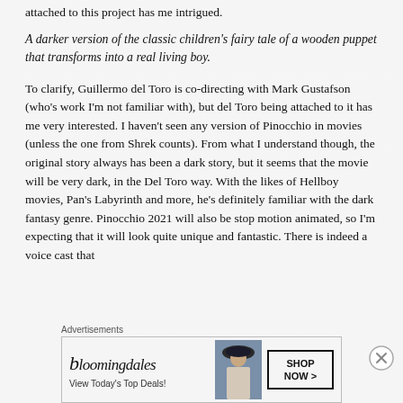attached to this project has me intrigued.
A darker version of the classic children's fairy tale of a wooden puppet that transforms into a real living boy.
To clarify, Guillermo del Toro is co-directing with Mark Gustafson (who's work I'm not familiar with), but del Toro being attached to it has me very interested. I haven't seen any version of Pinocchio in movies (unless the one from Shrek counts). From what I understand though, the original story always has been a dark story, but it seems that the movie will be very dark, in the Del Toro way. With the likes of Hellboy movies, Pan's Labyrinth and more, he's definitely familiar with the dark fantasy genre. Pinocchio 2021 will also be stop motion animated, so I'm expecting that it will look quite unique and fantastic. There is indeed a voice cast that
Advertisements
[Figure (other): Bloomingdale's advertisement banner with logo, model wearing wide-brim hat, and 'SHOP NOW >' call-to-action button. Tagline: View Today's Top Deals!]